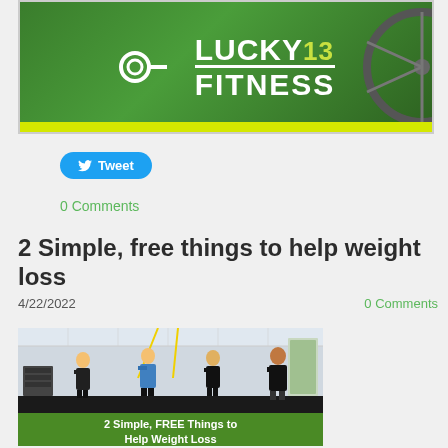[Figure (logo): Lucky 13 Fitness logo banner with green background and bicycle wheel on right side]
Tweet
0 Comments
2 Simple, free things to help weight loss
4/22/2022
0 Comments
[Figure (photo): People working out in a gym with TRX straps, with green caption bar reading '2 Simple, FREE Things to Help Weight Loss']